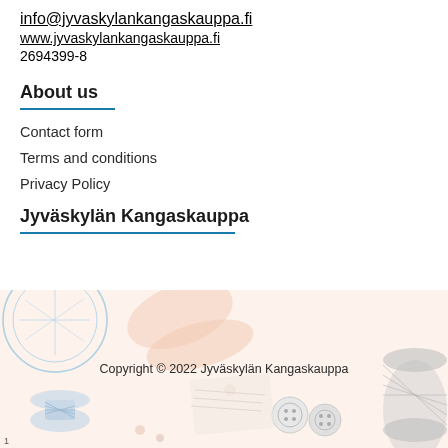info@jyvaskylankangaskauppa.fi
www.jyvaskylankangaskauppa.fi
2694399-8
About us
Contact form
Terms and conditions
Privacy Policy
Jyväskylän Kangaskauppa
[Figure (illustration): Decorative illustration of sewing/fabric items: thread spools, buttons, scissors, fabric rolls on a warm beige background]
Copyright © 2022 Jyväskylän Kangaskauppa